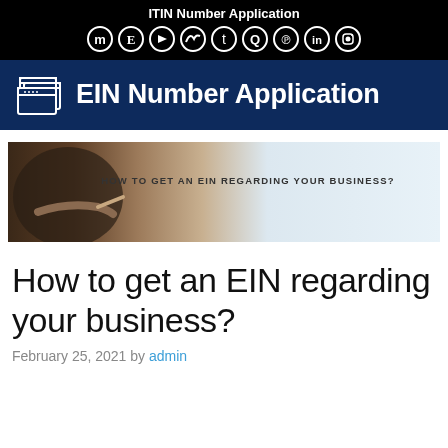ITIN Number Application
EIN Number Application
[Figure (photo): Banner image showing a person writing/signing a document, with text overlay reading 'HOW TO GET AN EIN REGARDING YOUR BUSINESS?']
How to get an EIN regarding your business?
February 25, 2021 by admin